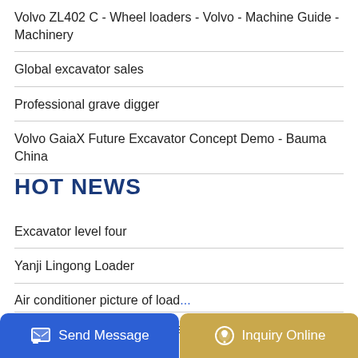Volvo ZL402 C - Wheel loaders - Volvo - Machine Guide - Machinery
Global excavator sales
Professional grave digger
Volvo GaiaX Future Excavator Concept Demo - Bauma China
HOT NEWS
Excavator level four
Yanji Lingong Loader
Air conditioner picture of load...
low loaders 20 Ads in Commercials For Sale in Ireland